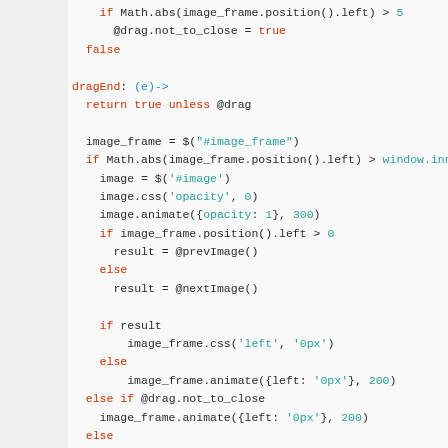[Figure (screenshot): Code snippet showing CoffeeScript/JavaScript code for drag event handling including dragEnd function with image frame animation logic]